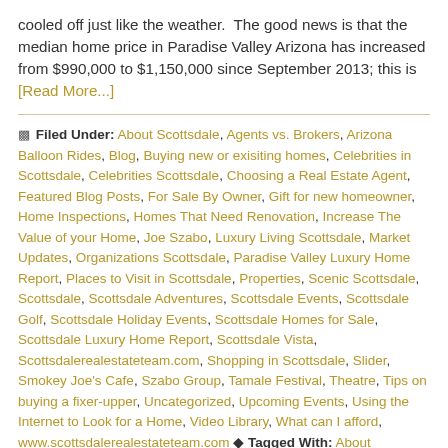cooled off just like the weather.  The good news is that the median home price in Paradise Valley Arizona has increased from $990,000 to $1,150,000 since September 2013; this is [Read More...]
Filed Under: About Scottsdale, Agents vs. Brokers, Arizona Balloon Rides, Blog, Buying new or exisiting homes, Celebrities in Scottsdale, Celebrities Scottsdale, Choosing a Real Estate Agent, Featured Blog Posts, For Sale By Owner, Gift for new homeowner, Home Inspections, Homes That Need Renovation, Increase The Value of your Home, Joe Szabo, Luxury Living Scottsdale, Market Updates, Organizations Scottsdale, Paradise Valley Luxury Home Report, Places to Visit in Scottsdale, Properties, Scenic Scottsdale, Scottsdale, Scottsdale Adventures, Scottsdale Events, Scottsdale Golf, Scottsdale Holiday Events, Scottsdale Homes for Sale, Scottsdale Luxury Home Report, Scottsdale Vista, Scottsdalerealestateteam.com, Shopping in Scottsdale, Slider, Smokey Joe's Cafe, Szabo Group, Tamale Festival, Theatre, Tips on buying a fixer-upper, Uncategorized, Upcoming Events, Using the Internet to Look for a Home, Video Library, What can I afford, www.scottsdalerealestateteam.com Tagged With: About Scottsdale, Arizona Luxury Homes, Best Real Estate Agent Scottsdale, Buying a Home in Scottsdale, Buying new or exisiting homes, Buying new or existing homes, Buying Scottsdale Homes, Buying Scottsdale Real Estate, Choosing a real estate agent, Estates for Sale Scottsdale, For Sale By Owner, Homes for Sale